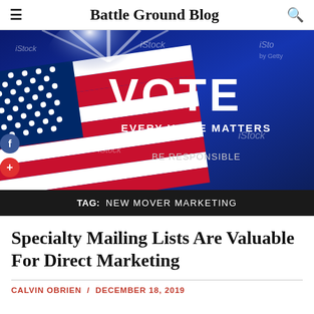Battle Ground Blog
[Figure (illustration): iStock watermarked image of American flag with text VOTE, EVERY VOICE MATTERS, BE RESPONSIBLE on a blue background]
TAG:  NEW MOVER MARKETING
Specialty Mailing Lists Are Valuable For Direct Marketing
CALVIN OBRIEN  /  DECEMBER 18, 2019